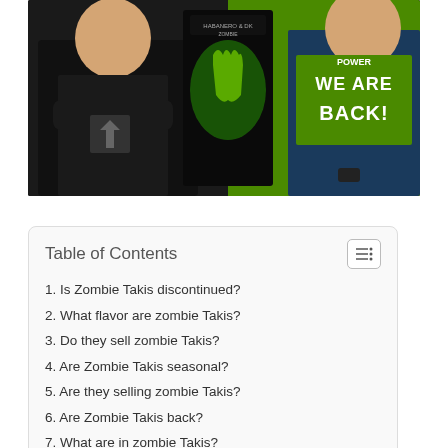[Figure (photo): Two people sitting at a table. On the left, a person in a black t-shirt with arms crossed. In the center, a Zombie Takis bag with a glowing green zombie hand design. On the right, a person in a dark blue shirt with 'WE ARE BACK!' text visible on a green background.]
1. Is Zombie Takis discontinued?
2. What flavor are zombie Takis?
3. Do they sell zombie Takis?
4. Are Zombie Takis seasonal?
5. Are they selling zombie Takis?
6. Are Zombie Takis back?
7. What are in zombie Takis?
8. How spicy are zombie Takis?
9. Do they still sell the zombie Takis?